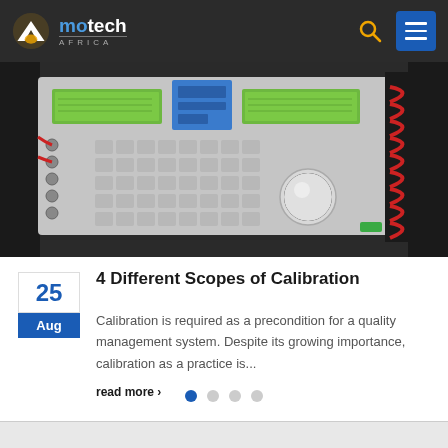[Figure (logo): Motech Africa logo with white letter A icon and blue/white text on dark background]
[Figure (photo): Photo of an electronic calibration instrument/signal generator with green LCD displays, keypad buttons, and a rotary dial, with a red coil/transformer visible on the right]
4 Different Scopes of Calibration
Calibration is required as a precondition for a quality management system. Despite its growing importance, calibration as a practice is...
read more ›